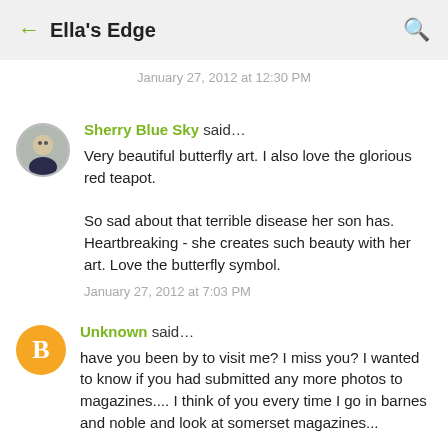Ella's Edge
January 27, 2012 at 12:30 PM
Sherry Blue Sky said…
Very beautiful butterfly art. I also love the glorious red teapot.

So sad about that terrible disease her son has. Heartbreaking - she creates such beauty with her art. Love the butterfly symbol.

January 27, 2012 at 7:03 PM
Unknown said…
have you been by to visit me? I miss you? I wanted to know if you had submitted any more photos to magazines.... I think of you every time I go in barnes and noble and look at somerset magazines...